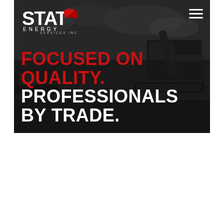[Figure (screenshot): Hero image of STAT Energy Services Inc website. Dark/greyscale background showing heavy equipment (CAT machinery). Logo in top-left, hamburger menu top-right. Large text overlay: 'FOCUSED ON QUALITY.' in red, 'PROFESSIONALS BY TRADE.' in white.]
FOCUSED ON QUALITY. PROFESSIONALS BY TRADE.